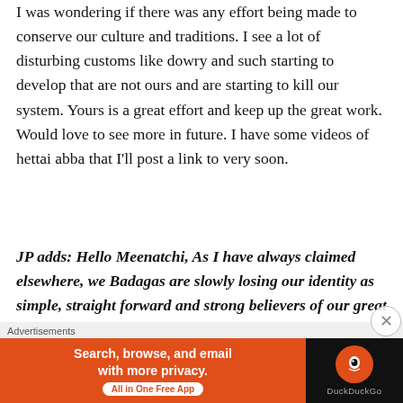I was wondering if there was any effort being made to conserve our culture and traditions. I see a lot of disturbing customs like dowry and such starting to develop that are not ours and are starting to kill our system. Yours is a great effort and keep up the great work. Would love to see more in future. I have some videos of hettai abba that I'll post a link to very soon.
JP adds: Hello Meenatchi, As I have always claimed elsewhere, we Badagas are slowly losing our identity as simple, straight forward and strong believers of our great traditions.
Advertisements
[Figure (other): DuckDuckGo advertisement banner: orange section with text 'Search, browse, and email with more privacy. All in One Free App' and black section with DuckDuckGo logo]